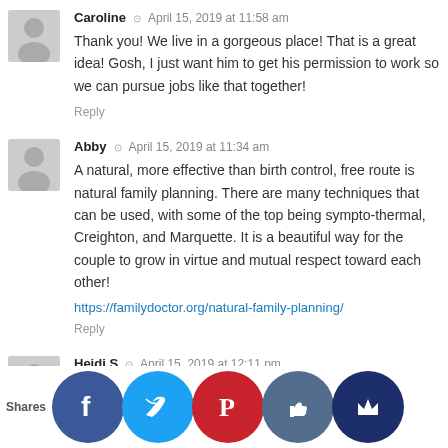Caroline · April 15, 2019 at 11:58 am
Thank you! We live in a gorgeous place! That is a great idea! Gosh, I just want him to get his permission to work so we can pursue jobs like that together!
Reply
Abby · April 15, 2019 at 11:34 am
A natural, more effective than birth control, free route is natural family planning. There are many techniques that can be used, with some of the top being sympto-thermal, Creighton, and Marquette. It is a beautiful way for the couple to grow in virtue and mutual respect toward each other!
https://familydoctor.org/natural-family-planning/
Reply
Heidi S · April 15, 2019 at 12:11 pm
First of all, I'm super impressed they have that much saved on your small income.
For… Control… (partially hidden by share bar)